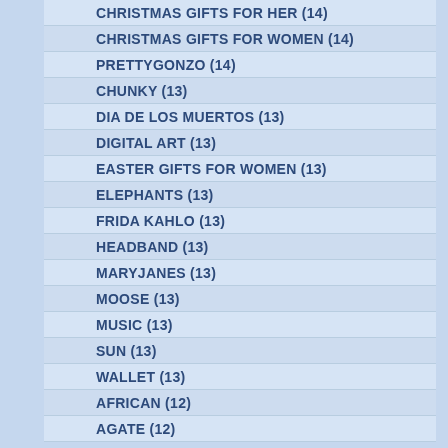CHRISTMAS GIFTS FOR HER (14)
CHRISTMAS GIFTS FOR WOMEN (14)
PRETTYGONZO (14)
CHUNKY (13)
DIA DE LOS MUERTOS (13)
DIGITAL ART (13)
EASTER GIFTS FOR WOMEN (13)
ELEPHANTS (13)
FRIDA KAHLO (13)
HEADBAND (13)
MARYJANES (13)
MOOSE (13)
MUSIC (13)
SUN (13)
WALLET (13)
AFRICAN (12)
AGATE (12)